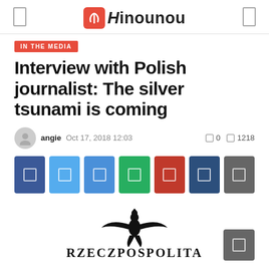Hinounou
IN THE MEDIA
Interview with Polish journalist: The silver tsunami is coming
angie  Oct 17, 2018 12:03   0  1218
[Figure (logo): Rzeczpospolita newspaper logo with eagle emblem and text RZECZPOSPOLITA]